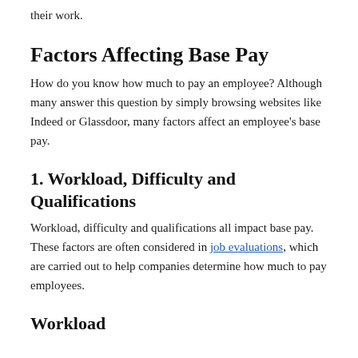their work.
Factors Affecting Base Pay
How do you know how much to pay an employee? Although many answer this question by simply browsing websites like Indeed or Glassdoor, many factors affect an employee's base pay.
1. Workload, Difficulty and Qualifications
Workload, difficulty and qualifications all impact base pay. These factors are often considered in job evaluations, which are carried out to help companies determine how much to pay employees.
Workload